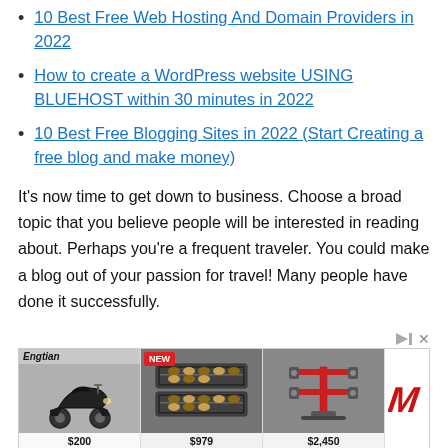10 Best Free Web Hosting And Domain Providers in 2022
How to create a WordPress website USING BLUEHOST within 30 minutes in 2022
10 Best Free Blogging Sites in 2022 (Start Creating a free blog and make money)
It's now time to get down to business. Choose a broad topic that you believe people will be interested in reading about. Perhaps you're a frequent traveler. You could make a blog out of your passion for travel! Many people have done it successfully.
[Figure (screenshot): Advertisement banner showing product images: a scooter ($200), bakery display cases labeled NEW ($979), and a wheel alignment machine ($2,450), with the Engtian brand logo and an M logo on the side.]